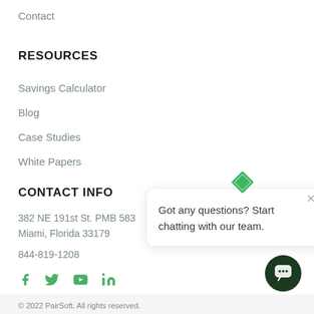Contact
RESOURCES
Savings Calculator
Blog
Case Studies
White Papers
CONTACT INFO
382 NE 191st St. PMB 583
Miami, Florida 33179
844-819-1208
[Figure (infographic): Social media icons: Facebook, Twitter, YouTube, LinkedIn in green color]
[Figure (infographic): Chat popup with green diamond icon, close X button, and text: Got any questions? Start chatting with our team.]
[Figure (infographic): Dark green circular chat button with speech bubble icon]
© 2022 PairSoft. All rights reserved.